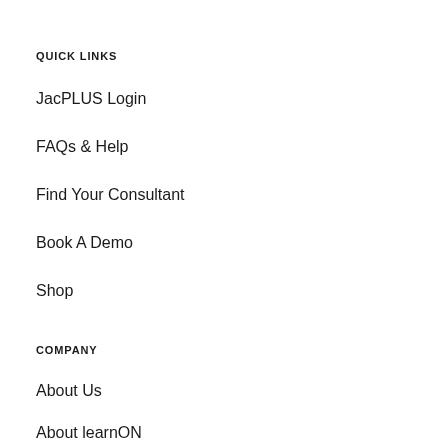QUICK LINKS
JacPLUS Login
FAQs & Help
Find Your Consultant
Book A Demo
Shop
COMPANY
About Us
About learnON
Contact Us